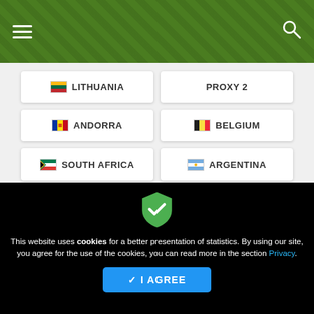Navigation menu with hamburger icon and search icon
🇱🇹 LITHUANIA
PROXY 2
🇦🇩 ANDORRA
🇧🇪 BELGIUM
🇿🇦 SOUTH AFRICA
🇦🇷 ARGENTINA
🇪🇺 EUROPE
This website uses cookies for a better presentation of statistics. By using our site, you agree for the use of the cookies, you can read more in the section Privacy.
✓ I AGREE